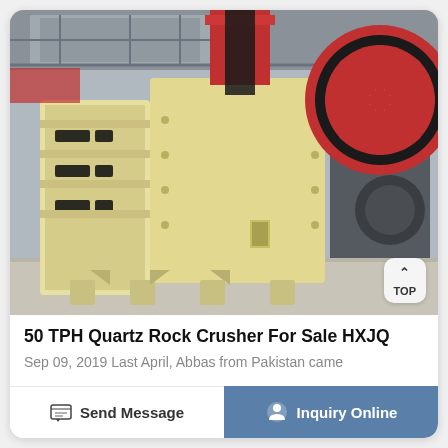[Figure (photo): A large yellow jaw crusher machine (50 TPH Quartz Rock Crusher) shown in an industrial warehouse/factory setting. The machine has a prominent flywheel with red and black coloring, yellow cast iron body with rectangular slots, and sits on a concrete floor. A 'TOP' button widget is overlaid in the bottom-right corner of the photo.]
50 TPH Quartz Rock Crusher For Sale HXJQ
Sep 09, 2019 Last April, Abbas from Pakistan came
Send Message
Inquiry Online